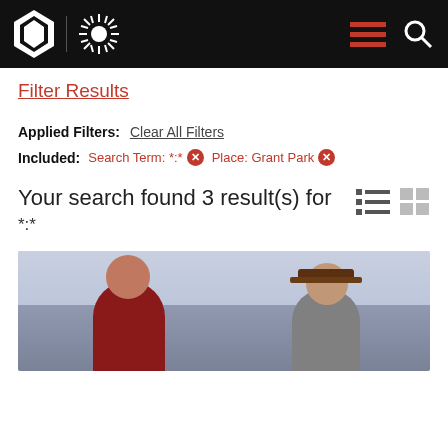Pennsylvania Government Website Header
Filter Results
Applied Filters: Clear All Filters
Included: Search Term: *:* × Place: Grant Park ×
Your search found 3 result(s) for *:*
[Figure (photo): Crowd of people outdoors, partial view showing faces and upper bodies against a light sky background]